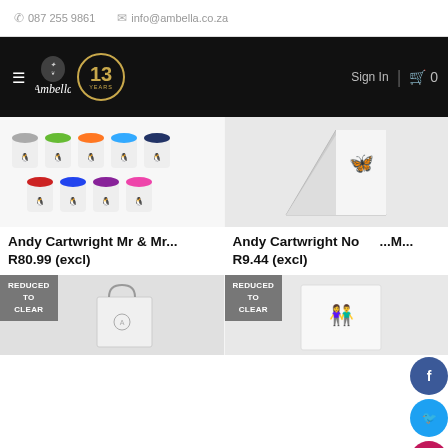087 255 9861  info@ambella.co.za
[Figure (logo): Ambella logo with ornate crest, cursive Ambella text, and 13 Years badge in gold circle on black navigation bar]
[Figure (photo): Andy Cartwright Mr & Mr product - multiple travel cups with colored silicone lids in grey, green, orange, blue, navy, red, cobalt, purple, pink]
Andy Cartwright Mr & Mr...
R80.99 (excl)
[Figure (photo): Andy Cartwright Notebook/Memo product - triangular white stand with decorative illustration]
Andy Cartwright No...M...
R9.44 (excl)
[Figure (photo): REDUCED TO CLEAR - white paper shopping bag with rope handles and small printed design]
[Figure (photo): REDUCED TO CLEAR - white product with decorative illustration of couple figures]